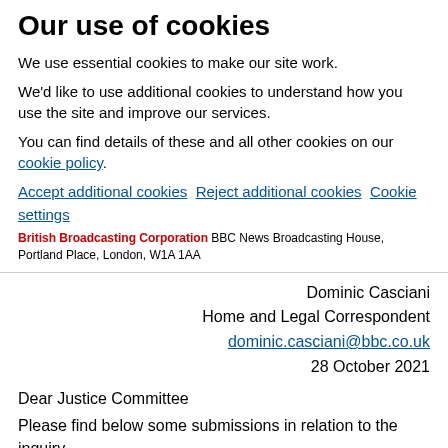Our use of cookies
We use essential cookies to make our site work.
We'd like to use additional cookies to understand how you use the site and improve our services.
You can find details of these and all other cookies on our cookie policy.
Accept additional cookies   Reject additional cookies   Cookie settings
British Broadcasting Corporation   BBC News Broadcasting House, Portland Place, London, W1A 1AA
Dominic Casciani
Home and Legal Correspondent
dominic.casciani@bbc.co.uk
28 October 2021
Dear Justice Committee
Please find below some submissions in relation to the inquiry